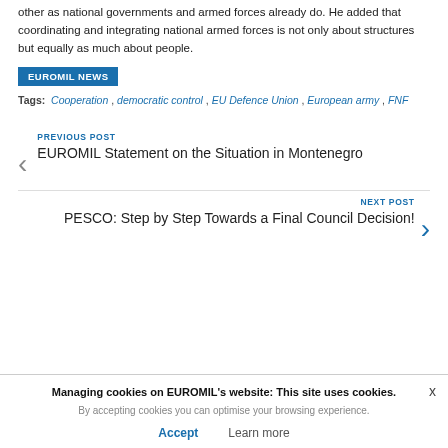other as national governments and armed forces already do. He added that coordinating and integrating national armed forces is not only about structures but equally as much about people.
EUROMIL NEWS
Tags: Cooperation , democratic control , EU Defence Union , European army , FNF
PREVIOUS POST
EUROMIL Statement on the Situation in Montenegro
NEXT POST
PESCO: Step by Step Towards a Final Council Decision!
Managing cookies on EUROMIL's website: This site uses cookies.
By accepting cookies you can optimise your browsing experience.
Accept   Learn more